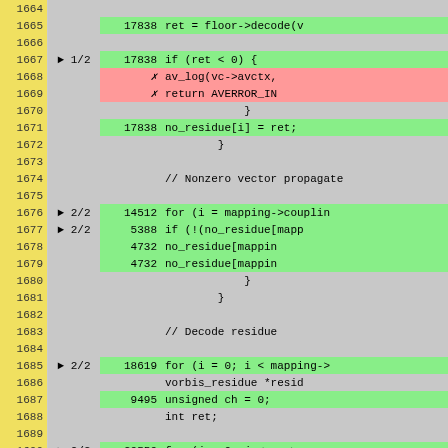| Line | Branch | Count | Code |
| --- | --- | --- | --- |
| 1665 |  | 17838 | ret = floor->decode(v... |
| 1666 |  |  |  |
| 1667 | ▶ 1/2 | 17838 | if (ret < 0) { |
| 1668 |  | ✗ | av_log(vc->avctx,... |
| 1669 |  | ✗ | return AVERROR_IN... |
| 1670 |  |  | } |
| 1671 |  | 17838 | no_residue[i] = ret; |
| 1672 |  |  | } |
| 1673 |  |  |  |
| 1674 |  |  | // Nonzero vector propagate |
| 1675 |  |  |  |
| 1676 | ▶ 2/2 | 14512 | for (i = mapping->couplin... |
| 1677 | ▶ 2/2 | 5388 | if (!(no_residue[mapp... |
| 1678 |  | 4732 | no_residue[mappin... |
| 1679 |  | 4732 | no_residue[mappin... |
| 1680 |  |  | } |
| 1681 |  |  | } |
| 1682 |  |  |  |
| 1683 |  |  | // Decode residue |
| 1684 |  |  |  |
| 1685 | ▶ 2/2 | 18619 | for (i = 0; i < mapping->... |
| 1686 |  |  | vorbis_residue *resid... |
| 1687 |  | 9495 | unsigned ch = 0; |
| 1688 |  |  | int ret; |
| 1689 |  |  |  |
| 1690 | ▶ 2/2 | 29559 | for (j = 0; j < vc->a... |